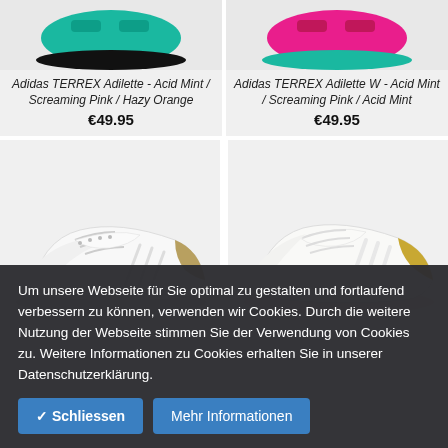[Figure (photo): Adidas TERREX Adilette sandal in Acid Mint / Screaming Pink / Hazy Orange, top portion of shoe visible]
Adidas TERREX Adilette - Acid Mint / Screaming Pink / Hazy Orange
€49.95
[Figure (photo): Adidas TERREX Adilette W sandal in Acid Mint / Screaming Pink / Acid Mint, top portion of shoe visible]
Adidas TERREX Adilette W - Acid Mint / Screaming Pink / Acid Mint
€49.95
[Figure (photo): White Adidas sneaker low-top with small gold detail, left side]
[Figure (photo): White Adidas sneaker low-top with gold heel accent, right side]
Um unsere Webseite für Sie optimal zu gestalten und fortlaufend verbessern zu können, verwenden wir Cookies. Durch die weitere Nutzung der Webseite stimmen Sie der Verwendung von Cookies zu. Weitere Informationen zu Cookies erhalten Sie in unserer Datenschutzerklärung.
✓ Schliessen
Mehr Informationen